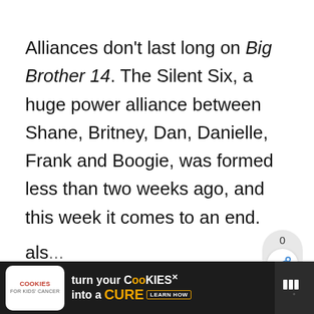Alliances don't last long on Big Brother 14. The Silent Six, a huge power alliance between Shane, Britney, Dan, Danielle, Frank and Boogie, was formed less than two weeks ago, and this week it comes to an end.

This Sunday episode is full of very obvious foreshadowing. From the very beginning Fr... talks about how he hopes Boogie not going for HoH doesn't come back to bite them. He als...
[Figure (other): Share widget showing count 0 and a share icon (network share symbol) in a rounded pill-shaped gray box]
[Figure (other): Advertisement banner at the bottom: 'Cookies for Kids Cancer - turn your COOKIES into a CURE LEARN HOW' on a dark background with CNN logo area on right]